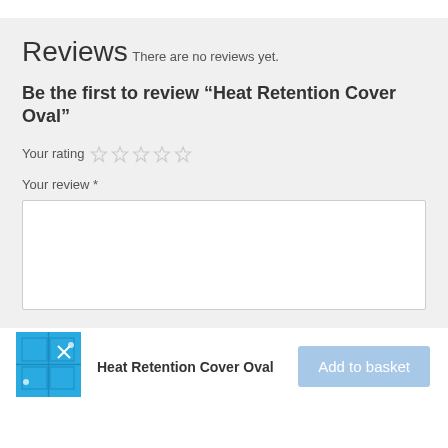Reviews
There are no reviews yet.
Be the first to review “Heat Retention Cover Oval”
Your rating
Your review *
[Figure (screenshot): Empty textarea for review input]
[Figure (photo): Product thumbnail image of Heat Retention Cover Oval, a blue pool cover]
Heat Retention Cover Oval
Add to basket